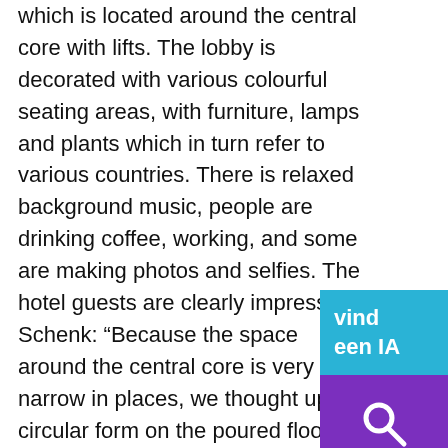which is located around the central core with lifts. The lobby is decorated with various colourful seating areas, with furniture, lamps and plants which in turn refer to various countries. There is relaxed background music, people are drinking coffee, working, and some are making photos and selfies. The hotel guests are clearly impressed. Schenk: “Because the space around the central core is very narrow in places, we thought up a circular form on the poured floor which, as it were, accompanies you as you move around the core.” The positioning and form of fixed elements such as bars add to the dynamic: they constantly spark curiosity into what you’ll find next. The counter of the reception and bars had, in the design produced by NEXT, a lenticular effect, with images that change as you walk by. This was also intended
vind een IA